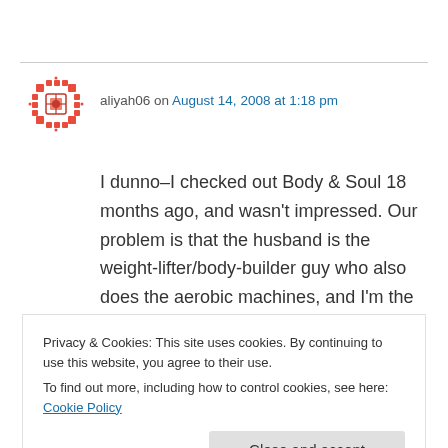[Figure (illustration): Red decorative avatar icon — small square mandala-style red pattern logo]
aliyah06 on August 14, 2008 at 1:18 pm
I dunno–I checked out Body & Soul 18 months ago, and wasn't impressed. Our problem is that the husband is the weight-lifter/body-builder guy who also does the aerobic machines, and I'm the swimmer, who ocassionally does the aerobic machines. We needed a place with a pool and a gym and close to us AND parking, since if you
Privacy & Cookies: This site uses cookies. By continuing to use this website, you agree to their use.
To find out more, including how to control cookies, see here: Cookie Policy
Close and accept
the time we checked it out, was also closed on